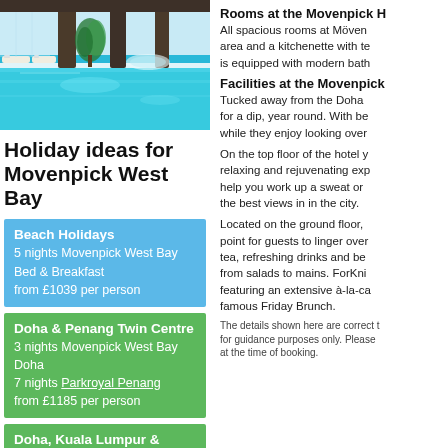[Figure (photo): Indoor hotel swimming pool with blue water, white lounge chairs, tropical plants and large windows]
Holiday ideas for Movenpick West Bay
Beach Holidays
5 nights Movenpick West Bay
Bed & Breakfast
from £1039 per person
Doha & Penang Twin Centre
3 nights Movenpick West Bay Doha
7 nights Parkroyal Penang
from £1185 per person
Doha, Kuala Lumpur & Penang
Rooms at the Movenpick H...
All spacious rooms at Möven... area and a kitchenette with te... is equipped with modern bath...
Facilities at the Movenpick...
Tucked away from the Doha ... for a dip, year round. With be... while they enjoy looking over...
On the top floor of the hotel y... relaxing and rejuvenating exp... help you work up a sweat or ... the best views in in the city.
Located on the ground floor, ... point for guests to linger over... tea, refreshing drinks and be... from salads to mains. ForKni... featuring an extensive à-la-ca... famous Friday Brunch.
The details shown here are correct t... for guidance purposes only. Please ... at the time of booking.